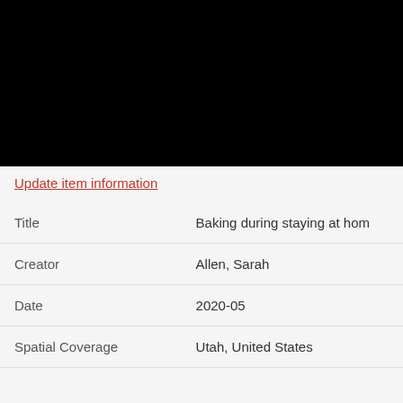[Figure (photo): Black rectangle representing a photo or video thumbnail area]
Update item information
| Title | Baking during staying at hom |
| Creator | Allen, Sarah |
| Date | 2020-05 |
| Spatial Coverage | Utah, United States |